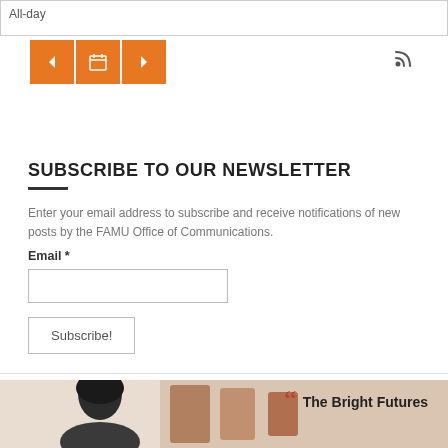All-day
[Figure (screenshot): Calendar navigation bar with orange back, calendar, and forward buttons, plus an RSS feed icon on the right]
SUBSCRIBE TO OUR NEWSLETTER
Enter your email address to subscribe and receive notifications of new posts by the FAMU Office of Communications.
Email *
Subscribe!
[Figure (photo): Bottom image showing a person with dark hair and a quote overlay reading 'The Bright Futures']